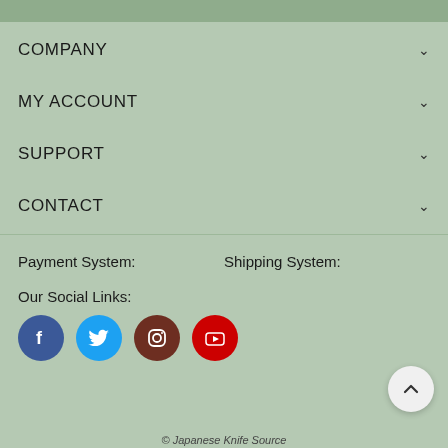COMPANY
MY ACCOUNT
SUPPORT
CONTACT
Payment System:
Shipping System:
Our Social Links:
[Figure (infographic): Social media icons: Facebook (blue circle), Twitter (cyan circle), Instagram (dark brown circle), YouTube (red circle)]
© Japanese Knife Source